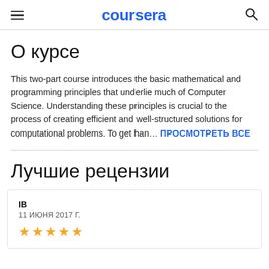coursera
О курсе
This two-part course introduces the basic mathematical and programming principles that underlie much of Computer Science. Understanding these principles is crucial to the process of creating efficient and well-structured solutions for computational problems. To get han… ПРОСМОТРЕТЬ ВСЕ
Лучшие рецензии
IB
11 ИЮНЯ 2017 Г.
★★★★★